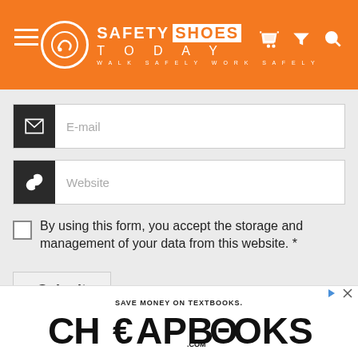[Figure (logo): Safety Shoes Today website header with orange background, hamburger menu on left, logo center, filter and search icons on right]
E-mail
Website
By using this form, you accept the storage and management of your data from this website. *
Submit
We use cookies on our website to give you the most relevant experience by remembering your preferences and repeat visits. By clicking "Accept All", you consent to the use of ALL the cookies. However, you may visit "Cookie Settings" to de a controlled consent.
[Figure (screenshot): CheapBooks.com advertisement banner: SAVE MONEY ON TEXTBOOKS. CHEAPBOOKS.COM in large stylized font]